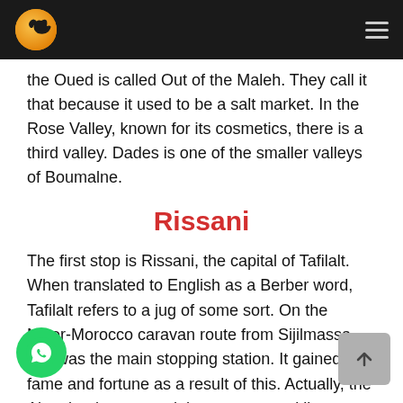[Logo] [Navigation menu icon]
the Oued is called Out of the Maleh. They call it that because it used to be a salt market. In the Rose Valley, known for its cosmetics, there is a third valley. Dades is one of the smaller valleys of Boumalne.
Rissani
The first stop is Rissani, the capital of Tafilalt. When translated to English as a Berber word, Tafilalt refers to a jug of some sort. On the Niger-Morocco caravan route from Sijilmassa, this was the main stopping station. It gained fame and fortune as a result of this. Actually, the Alaouiet dynasty and the current royal line descended from the Alaouiet family, which was founded here.
One of the world's largest palm groves may be found